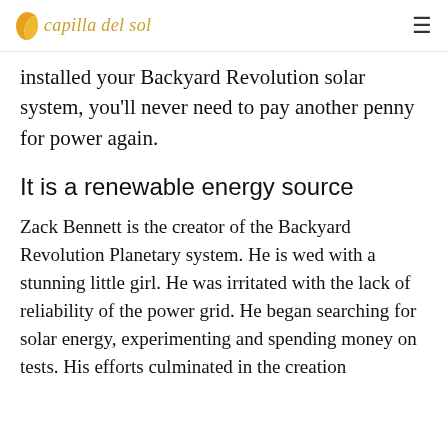capilla del sol
installed your Backyard Revolution solar system, you'll never need to pay another penny for power again.
It is a renewable energy source
Zack Bennett is the creator of the Backyard Revolution Planetary system. He is wed with a stunning little girl. He was irritated with the lack of reliability of the power grid. He began searching for solar energy, experimenting and spending money on tests. His efforts culminated in the creation